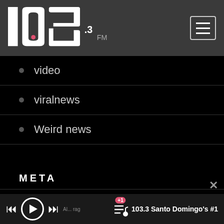[Figure (logo): 103.3 FM radio station logo in white text on dark grey header bar]
video
viralnews
Weird news
META
Acceder
Feed de entradas
Feed de comentarios
103.3 Santo Domingo's #1